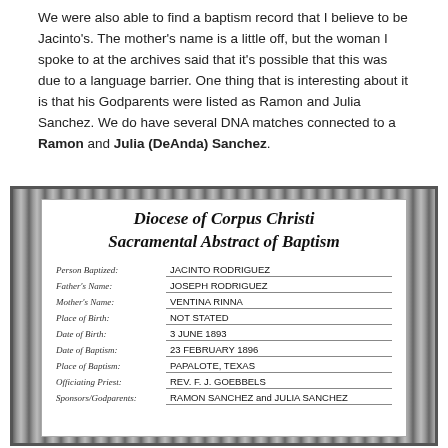We were also able to find a baptism record that I believe to be Jacinto's. The mother's name is a little off, but the woman I spoke to at the archives said that it's possible that this was due to a language barrier. One thing that is interesting about it is that his Godparents were listed as Ramon and Julia Sanchez. We do have several DNA matches connected to a Ramon and Julia (DeAnda) Sanchez.
[Figure (other): Diocese of Corpus Christi Sacramental Abstract of Baptism certificate image showing baptism record for JACINTO RODRIGUEZ, Father: JOSEPH RODRIGUEZ, Mother: VENTINA RINNA, Place of Birth: NOT STATED, Date of Birth: 3 JUNE 1893, Date of Baptism: 23 FEBRUARY 1896, Place of Baptism: PAPALOTE, TEXAS, Officiating Priest: REV. F. J. GOEBBELS, Sponsors/Godparents: RAMON SANCHEZ and JULIA SANCHEZ]